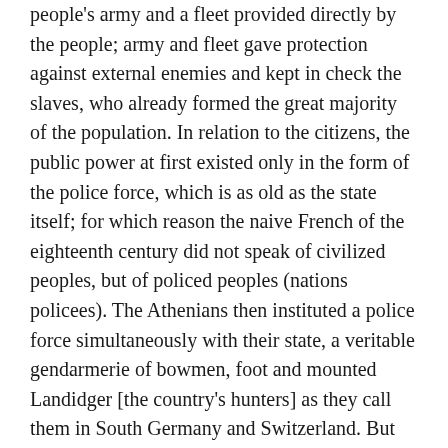people's army and a fleet provided directly by the people; army and fleet gave protection against external enemies and kept in check the slaves, who already formed the great majority of the population. In relation to the citizens, the public power at first existed only in the form of the police force, which is as old as the state itself; for which reason the naive French of the eighteenth century did not speak of civilized peoples, but of policed peoples (nations policees). The Athenians then instituted a police force simultaneously with their state, a veritable gendarmerie of bowmen, foot and mounted Landidger [the country's hunters] as they call them in South Germany and Switzerland. But this gendarmerie consisted of slaves. The free Athenian considered police duty so degrading that he would rather be arrested by an armed slave than himself have any hand in such despicable work. That